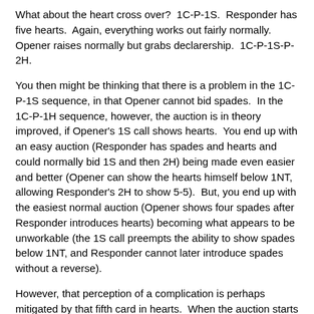What about the heart cross over?  1C-P-1S.  Responder has five hearts.  Again, everything works out fairly normally.  Opener raises normally but grabs declarership.  1C-P-1S-P-2H.
You then might be thinking that there is a problem in the 1C-P-1S sequence, in that Opener cannot bid spades.  In the 1C-P-1H sequence, however, the auction is in theory improved, if Opener's 1S call shows hearts.  You end up with an easy auction (Responder has spades and hearts and could normally bid 1S and then 2H) being made even easier and better (Opener can show the hearts himself below 1NT, allowing Responder's 2H to show 5-5).  But, you end up with the easiest normal auction (Opener shows four spades after Responder introduces hearts) becoming what appears to be unworkable (the 1S call preempts the ability to show spades below 1NT, and Responder cannot later introduce spades without a reverse).
However, that perception of a complication is perhaps mitigated by that fifth card in hearts.  When the auction starts 1C-P-1S (Responder has five hearts), Opener either started with (1) a balanced hand or (2) an unbalanced hand with